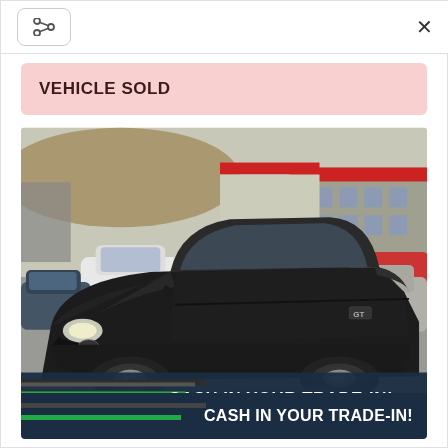< share | ×
VEHICLE SOLD
[Figure (photo): Photo of a dark gray/black Ford Mustang GT coupe parked in a dealership lot, viewed from front-left angle. Background shows other vehicles including SUVs and a warehouse building with red trim.]
CASH IN YOUR TRADE-IN!